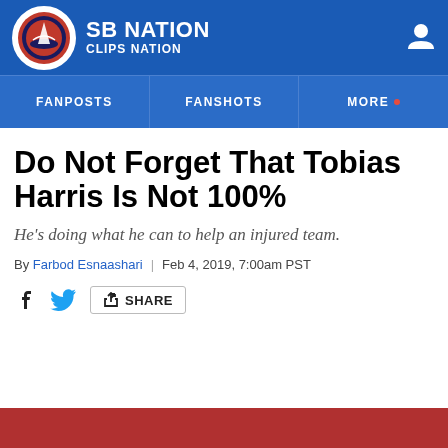SB NATION CLIPS NATION
FANPOSTS
FANSHOTS
MORE
Do Not Forget That Tobias Harris Is Not 100%
He's doing what he can to help an injured team.
By Farbod Esnaashari | Feb 4, 2019, 7:00am PST
SHARE